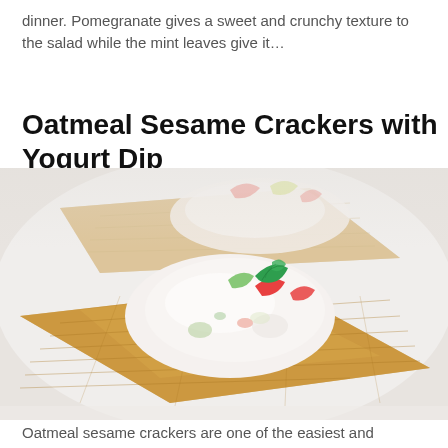dinner. Pomegranate gives a sweet and crunchy texture to the salad while the mint leaves give it…
Oatmeal Sesame Crackers with Yogurt Dip
[Figure (photo): Close-up food photo of oatmeal sesame crackers topped with yogurt dip garnished with mint leaves and colorful vegetables. Two crackers visible, one in foreground in sharp focus, one blurred in background. White background/plate.]
Oatmeal sesame crackers are one of the easiest and healthiest